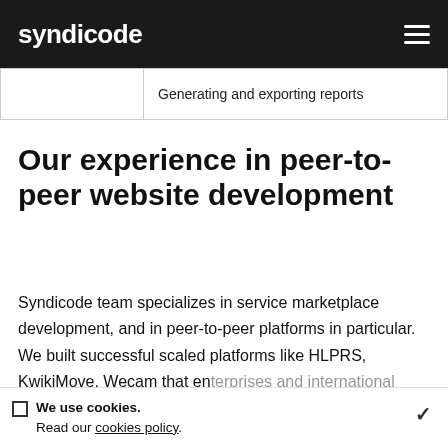syndicode
|  | Generating and exporting reports |
Our experience in peer-to-peer website development
Syndicode team specializes in service marketplace development, and in peer-to-peer platforms in particular. We built successful scaled platforms like HLPRS, KwikiMove, Wecam that en[...] and international markets.
We use cookies. Read our cookies policy.